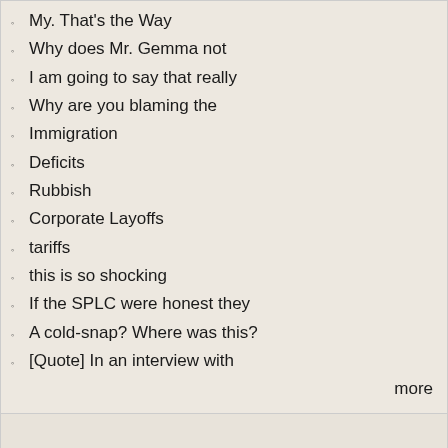My. That's the Way
Why does Mr. Gemma not
I am going to say that really
Why are you blaming the
Immigration
Deficits
Rubbish
Corporate Layoffs
tariffs
this is so shocking
If the SPLC were honest they
A cold-snap? Where was this?
[Quote] In an interview with
more
Poll